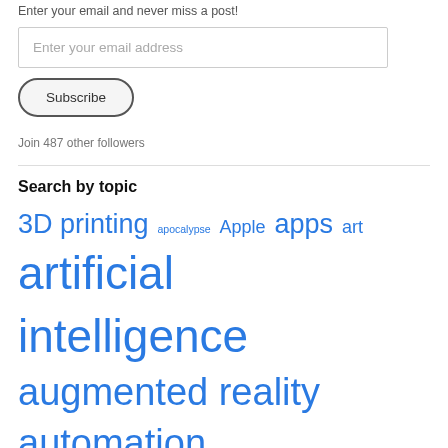Enter your email and never miss a post!
Enter your email address
Subscribe
Join 487 other followers
Search by topic
3D printing  apocalypse  Apple  apps  art  artificial intelligence  augmented reality  automation  batteries  BCI  bicycles  biofuels  biometrics  cars  cities  civilization  climate change  clothing  communication  community  computers  curation  data